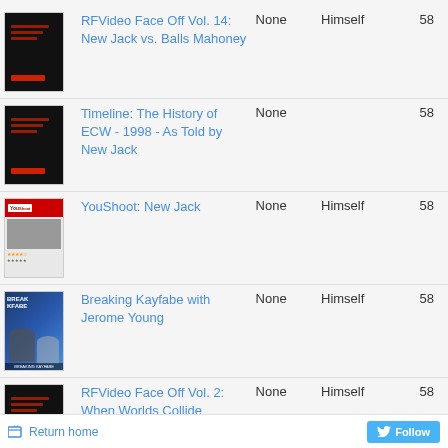| Thumbnail | Title | None | Role | Number |
| --- | --- | --- | --- | --- |
| [image] | RFVideo Face Off Vol. 14: New Jack vs. Balls Mahoney | None | Himself | 58 |
| [image] | Timeline: The History of ECW - 1998 - As Told by New Jack | None |  | 58 |
| [image] | YouShoot: New Jack | None | Himself | 58 |
| [image] | Breaking Kayfabe with Jerome Young | None | Himself | 58 |
| [image] | RFVideo Face Off Vol. 2: When Worlds Collide | None | Himself | 58 |
Return home
Follow